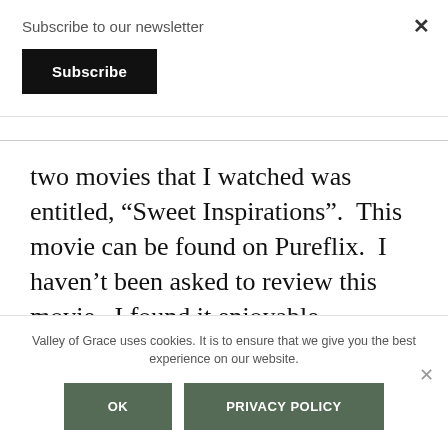Subscribe to our newsletter
Subscribe
two movies that I watched was entitled, “Sweet Inspirations”.  This movie can be found on Pureflix.  I haven’t been asked to review this movie.  I found it enjoyable, relatable, and the fact that the movie had an emphasis placed on
Valley of Grace uses cookies. It is to ensure that we give you the best experience on our website.
OK
PRIVACY POLICY